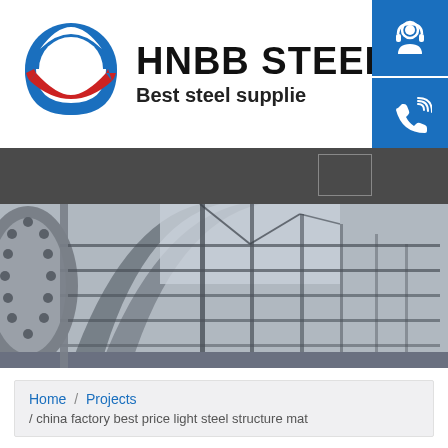[Figure (logo): HNBB Steel company logo with circular emblem (blue/red/white) and text 'HNBB STEEL / Best steel supplie']
[Figure (photo): Interior photo of a large steel structure building/warehouse with arched steel framework and natural lighting]
Home / Projects / china factory best price light steel structure mat
china factory best price light steel